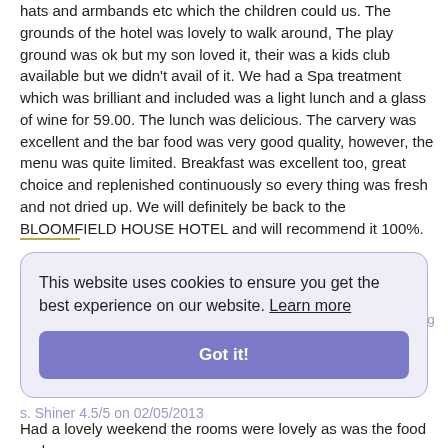hats and armbands etc which the children could us. The grounds of the hotel was lovely to walk around, The play ground was ok but my son loved it, their was a kids club available but we didn't avail of it. We had a Spa treatment which was brilliant and included was a light lunch and a glass of wine for 59.00. The lunch was delicious. The carvery was excellent and the bar food was very good quality, however, the menu was quite limited. Breakfast was excellent too, great choice and replenished continuously so every thing was fresh and not dried up. We will definitely be back to the BLOOMFIELD HOUSE HOTEL and will recommend it 100%.
This website uses cookies to ensure you get the best experience on our website. Learn more
Got it!
Had a lovely weekend the rooms were lovely as was the food and